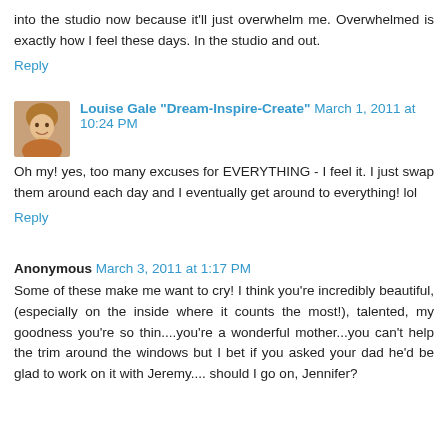into the studio now because it'll just overwhelm me. Overwhelmed is exactly how I feel these days. In the studio and out.
Reply
Louise Gale "Dream-Inspire-Create" March 1, 2011 at 10:24 PM
Oh my! yes, too many excuses for EVERYTHING - I feel it. I just swap them around each day and I eventually get around to everything! lol
Reply
Anonymous March 3, 2011 at 1:17 PM
Some of these make me want to cry! I think you're incredibly beautiful, (especially on the inside where it counts the most!), talented, my goodness you're so thin....you're a wonderful mother...you can't help the trim around the windows but I bet if you asked your dad he'd be glad to work on it with Jeremy.... should I go on, Jennifer?